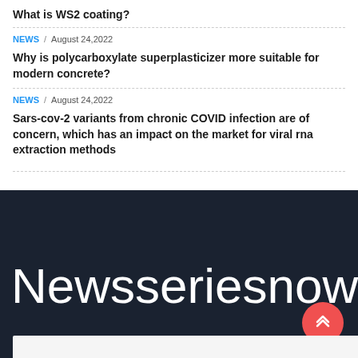What is WS2 coating?
NEWS / August 24,2022
Why is polycarboxylate superplasticizer more suitable for modern concrete?
NEWS / August 24,2022
Sars-cov-2 variants from chronic COVID infection are of concern, which has an impact on the market for viral rna extraction methods
Newsseriesnow